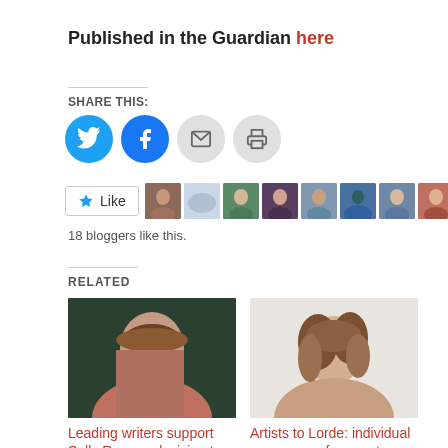Published in the Guardian here
SHARE THIS:
[Figure (infographic): Social share buttons: Twitter (blue circle), Facebook (blue circle), Email (grey circle), Print (grey circle)]
[Figure (infographic): Like button and avatar strip showing 18 bloggers like this]
18 bloggers like this.
RELATED
[Figure (photo): Photo of a young woman with long brown hair, Sally Rooney related article]
Leading writers support Sally Rooney decision to
[Figure (photo): Photo of a young woman with curly brown hair, Lorde related article]
Artists to Lorde: individual messages of support